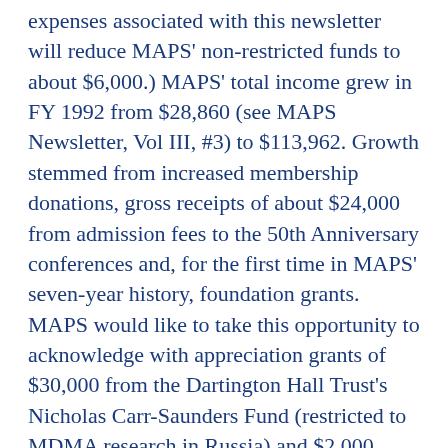expenses associated with this newsletter will reduce MAPS' non-restricted funds to about $6,000.) MAPS' total income grew in FY 1992 from $28,860 (see MAPS Newsletter, Vol III, #3) to $113,962. Growth stemmed from increased membership donations, gross receipts of about $24,000 from admission fees to the 50th Anniversary conferences and, for the first time in MAPS' seven-year history, foundation grants. MAPS would like to take this opportunity to acknowledge with appreciation grants of $30,000 from the Dartington Hall Trust's Nicholas Carr-Saunders Fund (restricted to MDMA research in Russia) and $2,000 from the Tides Foundation's Breath and Smile Fund for general operating expenses.
MAPS' ability to cover its organizational expenses